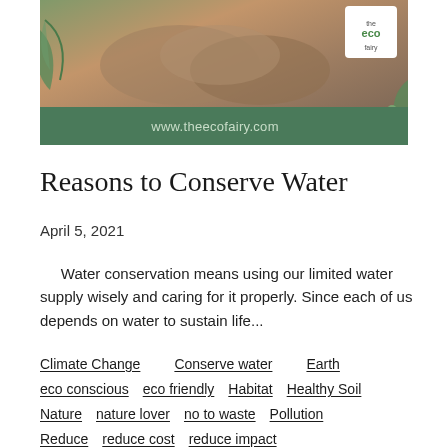[Figure (photo): Banner image showing hands holding soil/earth, with green floral decorations on sides and a dark green bar at the bottom showing www.theecofairy.com. The eco fairy logo appears in the top right corner.]
Reasons to Conserve Water
April 5, 2021
Water conservation means using our limited water supply wisely and caring for it properly. Since each of us depends on water to sustain life...
Climate Change
Conserve water
Earth
eco conscious
eco friendly
Habitat
Healthy Soil
Nature
nature lover
no to waste
Pollution
Reduce
reduce cost
reduce impact